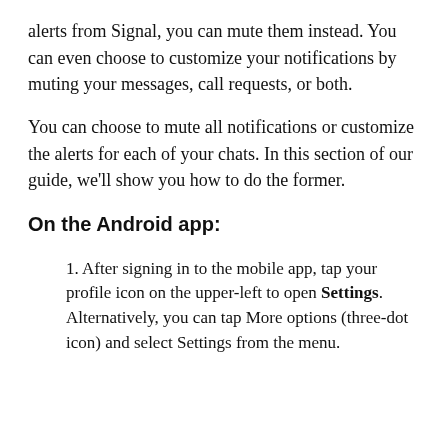alerts from Signal, you can mute them instead. You can even choose to customize your notifications by muting your messages, call requests, or both.
You can choose to mute all notifications or customize the alerts for each of your chats. In this section of our guide, we'll show you how to do the former.
On the Android app:
1. After signing in to the mobile app, tap your profile icon on the upper-left to open Settings. Alternatively, you can tap More options (three-dot icon) and select Settings from the menu.